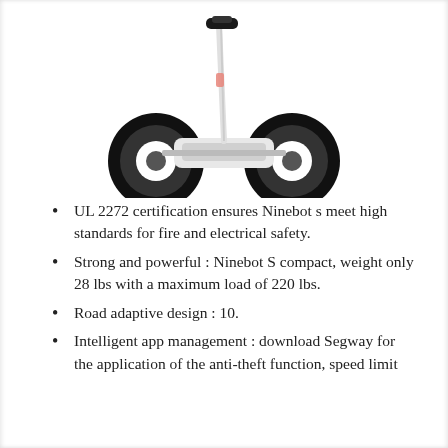[Figure (photo): White Ninebot S self-balancing scooter with two large wheels, white body, and a handlebar/knee control bar extending upward. The scooter is shown at a slight angle on a white background.]
UL 2272 certification ensures Ninebots meet high standards for fire and electrical safety.
Strong and powerful : Ninebot S compact, weight only 28 lbs with a maximum load of 220 lbs.
Road adaptive design : 10.
Intelligent app management : download Segway for the application of the anti-theft function, speed limit